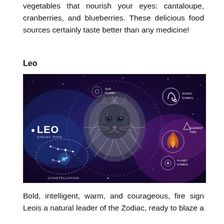vegetables that nourish your eyes: cantaloupe, cranberries, and blueberries. These delicious food sources certainly taste better than any medicine!
Leo
[Figure (illustration): Leo zodiac sign infographic on a dark purple/blue cosmic background featuring a stylized lion face in the center, constellation diagram on the left, LEO zodiac sign label, Sun Planet icon, Zodiac Symbol (Leo glyph), Element Fire with flame icon and triangle, Planet Symbol with concentric circles, and Constellation label.]
Bold, intelligent, warm, and courageous, fire sign Leois a natural leader of the Zodiac, ready to blaze a